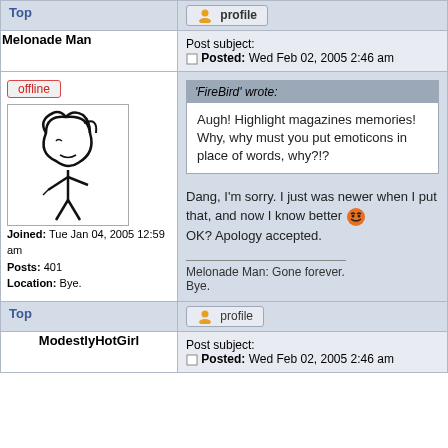Top | profile
Melonade Man
Post subject: Posted: Wed Feb 02, 2005 2:46 am
offline
[Figure (illustration): Simple stick figure avatar drawing in black and white]
Joined: Tue Jan 04, 2005 12:59 am
Posts: 401
Location: Bye.
'FireBird' wrote:
Augh! Highlight magazines memories! Why, why must you put emoticons in place of words, why?!?
Dang, I'm sorry. I just was newer when I put that, and now I know better OK? Apology accepted.

Melonade Man: Gone forever.
Bye.
Top | profile
ModestlyHotGirl